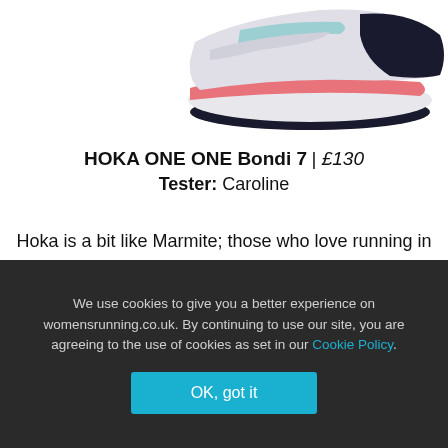[Figure (photo): Partial view of a HOKA ONE ONE Bondi 7 running shoe, showing the sole and upper with white, pink/coral, and navy blue colors against a white background.]
HOKA ONE ONE Bondi 7 | £130
Tester: Caroline
Hoka is a bit like Marmite; those who love running in this brand of shoe truly LOVE them and tend to remain loyal forever. And it's no wonder really; the cushioning is superb, thanks to the soft Everun midsole, which brings an…
We use cookies to give you a better experience on womensrunning.co.uk. By continuing to use our site, you are agreeing to the use of cookies as set in our Cookie Policy.